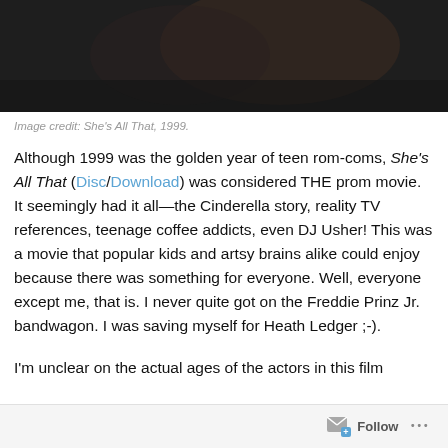[Figure (photo): Dark movie still showing partial figures, from She's All That 1999]
Image credit: She's All That, 1999.
Although 1999 was the golden year of teen rom-coms, She's All That (Disc/Download) was considered THE prom movie. It seemingly had it all—the Cinderella story, reality TV references, teenage coffee addicts, even DJ Usher! This was a movie that popular kids and artsy brains alike could enjoy because there was something for everyone.  Well, everyone except me, that is.  I never quite got on the Freddie Prinz Jr. bandwagon.  I was saving myself for Heath Ledger ;-).
I'm unclear on the actual ages of the actors in this film
Follow ...